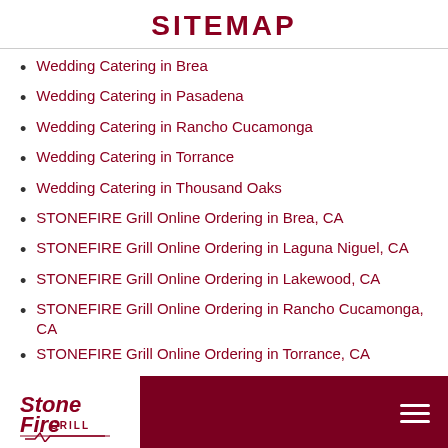SITEMAP
Wedding Catering in Brea
Wedding Catering in Pasadena
Wedding Catering in Rancho Cucamonga
Wedding Catering in Torrance
Wedding Catering in Thousand Oaks
STONEFIRE Grill Online Ordering in Brea, CA
STONEFIRE Grill Online Ordering in Laguna Niguel, CA
STONEFIRE Grill Online Ordering in Lakewood, CA
STONEFIRE Grill Online Ordering in Rancho Cucamonga, CA
STONEFIRE Grill Online Ordering in Torrance, CA
Support
[Figure (logo): STONEFIRE Grill logo in bottom left corner, white background]